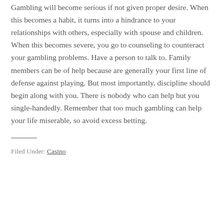Gambling will become serious if not given proper desire. When this becomes a habit, it turns into a hindrance to your relationships with others, especially with spouse and children. When this becomes severe, you go to counseling to counteract your gambling problems. Have a person to talk to. Family members can be of help because are generally your first line of defense against playing. But most importantly, discipline should begin along with you. There is nobody who can help but you single-handedly. Remember that too much gambling can help your life miserable, so avoid excess betting.
Filed Under: Casino